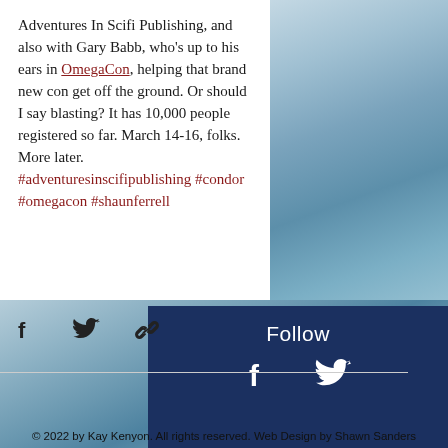Adventures In Scifi Publishing, and also with Gary Babb, who's up to his ears in OmegaCon, helping that brand new con get off the ground. Or should I say blasting? It has 10,000 people registered so far. March 14-16, folks. More later. #adventuresinscifipublishing #condor #omegacon #shaunferrell
[Figure (infographic): Social share icons: Facebook, Twitter, and link/chain icon]
[Figure (infographic): Footer section with Follow heading, Facebook and Twitter icons, and copyright text: © 2022 by Kay Kenyon. All rights reserved. Web Design by Shawn Sanders]